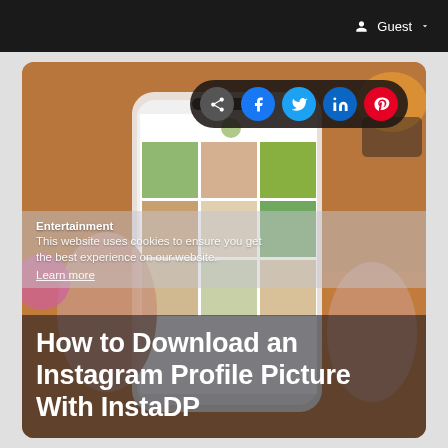Guest
[Figure (photo): A hand holding a smartphone displaying an Instagram profile grid page with food and fashion photos, on an orange/wooden background. Social media share buttons (share, Facebook, Twitter, LinkedIn, Pinterest) are overlaid at the top right. An 'Entertainment' category label and cookie consent notice overlay are partially visible. Large white bold title text reads: How to Download an Instagram Profile Picture With InstaDP]
Entertainment
This website uses cookies to ensure you get the best experience on our website.
Learn more
How to Download an Instagram Profile Picture With InstaDP